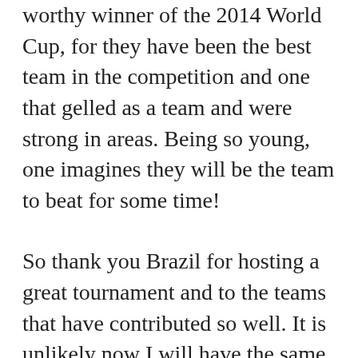worthy winner of the 2014 World Cup, for they have been the best team in the competition and one that gelled as a team and were strong in areas. Being so young, one imagines they will be the team to beat for some time!
So thank you Brazil for hosting a great tournament and to the teams that have contributed so well. It is unlikely now I will have the same intensity of interest in the top-flight football that will follow (the Premiership tends to depress me), until the next World Cup, assuming I am still around. Football is a beautiful game, and while I have